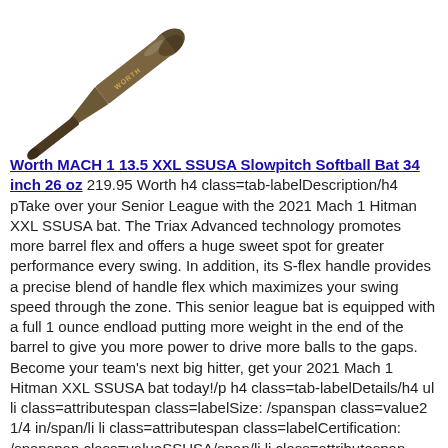[Figure (photo): A softball bat (Worth brand) shown diagonally from lower-left to upper-right against white background]
Worth MACH 1 13.5 XXL SSUSA Slowpitch Softball Bat 34 inch 26 oz 219.95 Worth h4 class=tab-labelDescription/h4 pTake over your Senior League with the 2021 Mach 1 Hitman XXL SSUSA bat. The Triax Advanced technology promotes more barrel flex and offers a huge sweet spot for greater performance every swing. In addition, its S-flex handle provides a precise blend of handle flex which maximizes your swing speed through the zone. This senior league bat is equipped with a full 1 ounce endload putting more weight in the end of the barrel to give you more power to drive more balls to the gaps. Become your team's next big hitter, get your 2021 Mach 1 Hitman XXL SSUSA bat today!/p h4 class=tab-labelDetails/h4 ul li class=attributespan class=labelSize: /spanspan class=value2 1/4 in/span/li li class=attributespan class=labelCertification: /spanspan class=valueSSUSA/span/li li class=attributespan class=labelEnd: /spanspan class=value1 oz Endload/span/li li class=attributespan class=labelFrame: /spanspan class=valueThe